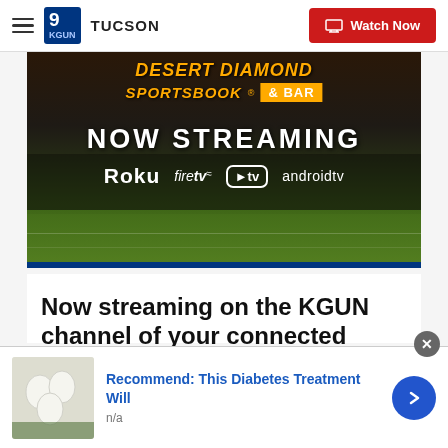9 KGUN TUCSON | Watch Now
[Figure (photo): KGUN streaming promotional image showing Desert Diamond Sports & Bar logo, NOW STREAMING text, and platform logos: Roku, fire tv, Apple tv, androidtv, over a football field background]
Now streaming on the KGUN channel of your connected device!
[Figure (photo): Advertisement thumbnail showing white eggs on green background]
Recommend: This Diabetes Treatment Will
n/a